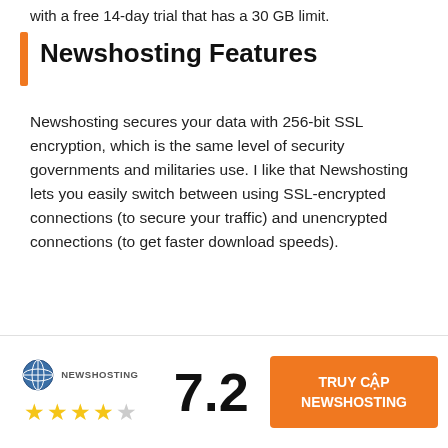with a free 14-day trial that has a 30 GB limit.
Newshosting Features
Newshosting secures your data with 256-bit SSL encryption, which is the same level of security governments and militaries use. I like that Newshosting lets you easily switch between using SSL-encrypted connections (to secure your traffic) and unencrypted connections (to get faster download speeds).
I also like that Newshosting has 4,800+ days of data retention for binary files, which is above the industry average (4,000-4,500 days of binary
[Figure (logo): Newshosting logo with globe icon and text NEWSHOSTING]
7.2
[Figure (infographic): Star rating: 4 filled stars and 1 empty star]
TRUY CẬP NEWSHOSTING